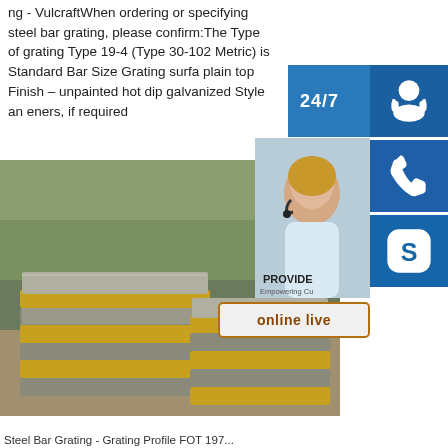ng - VulcraftWhen ordering or specifying steel bar grating, please confirm:The Type of grating Type 19-4 (Type 30-102 Metric) is Standard Bar Size Grating surface plain top Finish – unpainted hot dip galvanized Style and eners, if required
[Figure (photo): Photograph of stacked steel plates/sheets outdoors, with yellow-edged steel plates stacked in two piles on a concrete surface, trees visible in background. Overlaid with a customer service widget showing a woman with headset, 24/7 label, phone icon, Skype icon, PROVIDE branding, and 'online live' button.]
Steel Bar Grating - Grating Profile FOT 197...